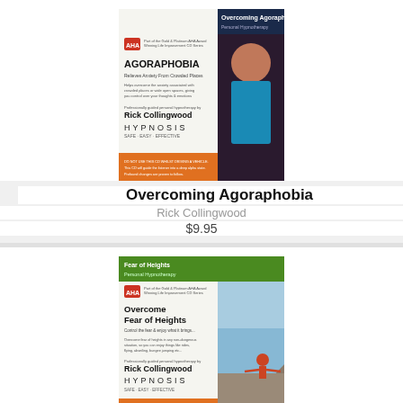[Figure (photo): Book cover for 'Overcoming Agoraphobia' hypnotherapy CD by Rick Collingwood, showing two women, with dark blue header and orange footer]
Overcoming Agoraphobia
Rick Collingwood
$9.95
[Figure (photo): Book cover for 'Fear of Heights' hypnotherapy CD by Rick Collingwood, showing a person standing on a cliff with arms outstretched, with green header]
Fear of Heights
Rick Collingwood